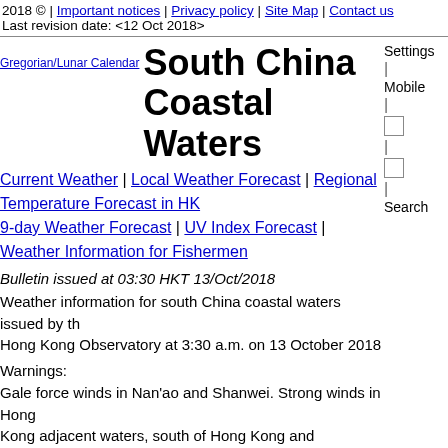2018 © | Important notices | Privacy policy | Site Map | Contact us
Last revision date: <12 Oct 2018>
[Figure (other): Gregorian/Lunar Calendar link icon/text]
South China Coastal Waters
Settings | Mobile | [icon] | [icon] | Search
Current Weather | Local Weather Forecast | Regional Temperature Forecast in HK
9-day Weather Forecast | UV Index Forecast | Weather Information for Fishermen
Bulletin issued at 03:30 HKT 13/Oct/2018
Weather information for south China coastal waters issued by the Hong Kong Observatory at 3:30 a.m. on 13 October 2018
Warnings:
Gale force winds in Nan'ao and Shanwei. Strong winds in Hong Kong adjacent waters, south of Hong Kong and Shangchuan Da
Weather Situation:
The weather system affecting the south China coastal w...